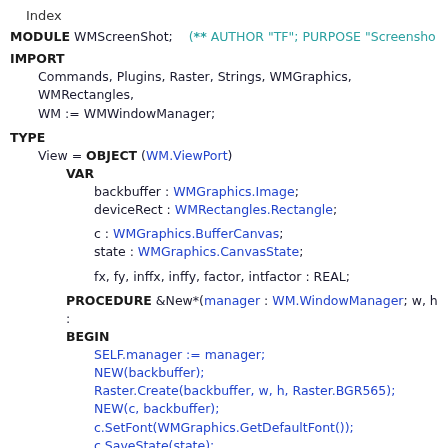Index
MODULE WMScreenShot;   (** AUTHOR "TF"; PURPOSE "Screenshot...
IMPORT
Commands, Plugins, Raster, Strings, WMGraphics, WMRectangles,
WM := WMWindowManager;
TYPE
View = OBJECT (WM.ViewPort)
  VAR
    backbuffer : WMGraphics.Image;
    deviceRect : WMRectangles.Rectangle;

    c : WMGraphics.BufferCanvas;
    state : WMGraphics.CanvasState;

    fx, fy, inffx, inffy, factor, intfactor : REAL;

  PROCEDURE &New*(manager : WM.WindowManager; w, h :
  BEGIN
    SELF.manager := manager;
    NEW(backbuffer);
    Raster.Create(backbuffer, w, h, Raster.BGR565);
    NEW(c, backbuffer);
    c.SetFont(WMGraphics.GetDefaultFont());
    c.SaveState(state);
    deviceRect := WMRectangles.MakeRect(0, 0, w, h);